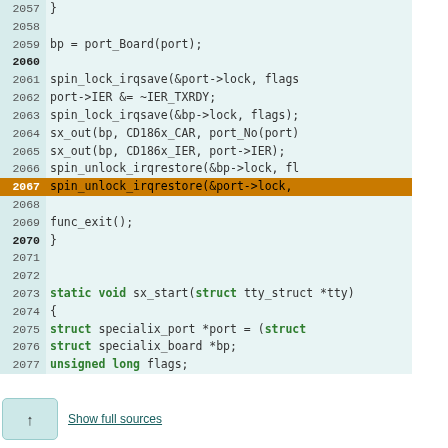[Figure (screenshot): Code viewer showing C source code lines 2057-2077 with line 2067 highlighted in orange. Lines 2060 and 2070 have bold line numbers. Code includes spin_lock/unlock functions, sx_out calls, func_exit(), and a static void sx_start function declaration with struct and unsigned long declarations.]
Show full sources